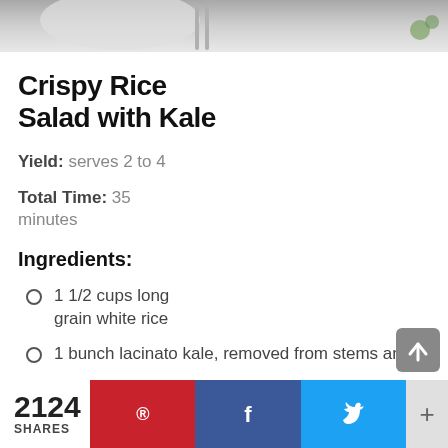[Figure (photo): Photo of a plate/bowl with food, partially cropped at top of page]
Crispy Rice Salad with Kale
Yield: serves 2 to 4
Total Time: 35 minutes
Ingredients:
1 1/2 cups long grain white rice
1 bunch lacinato kale, removed from stems and
2124 SHARES